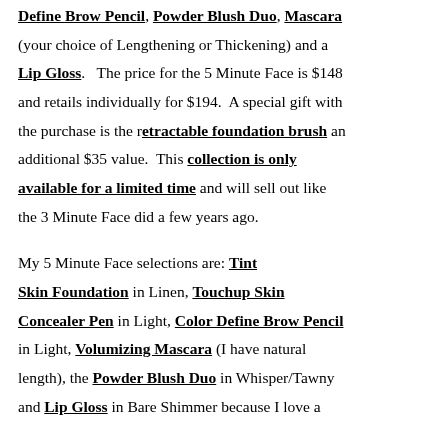Define Brow Pencil, Powder Blush Duo, Mascara (your choice of Lengthening or Thickening) and a Lip Gloss. The price for the 5 Minute Face is $148 and retails individually for $194. A special gift with the purchase is the retractable foundation brush an additional $35 value. This collection is only available for a limited time and will sell out like the 3 Minute Face did a few years ago.
My 5 Minute Face selections are: Tint Skin Foundation in Linen, Touchup Skin Concealer Pen in Light, Color Define Brow Pencil in Light, Volumizing Mascara (I have natural length), the Powder Blush Duo in Whisper/Tawny and Lip Gloss in Bare Shimmer because I love a